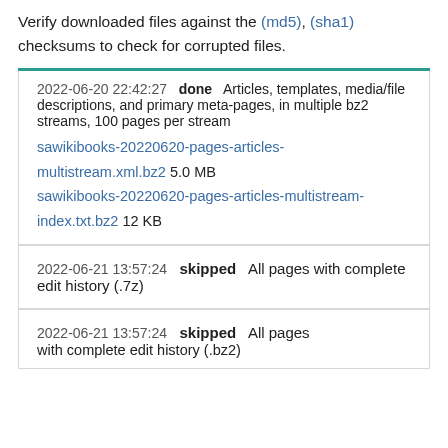Verify downloaded files against the (md5), (sha1) checksums to check for corrupted files.
2022-06-20 22:42:27   done   Articles, templates, media/file descriptions, and primary meta-pages, in multiple bz2 streams, 100 pages per stream
sawikibooks-20220620-pages-articles-multistream.xml.bz2 5.0 MB
sawikibooks-20220620-pages-articles-multistream-index.txt.bz2 12 KB
2022-06-21 13:57:24   skipped   All pages with complete edit history (.7z)
2022-06-21 13:57:24   skipped   All pages with complete edit history (.bz2)